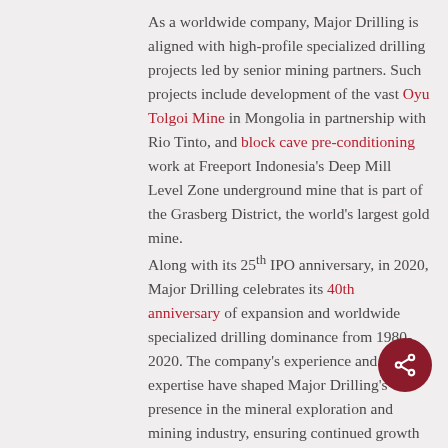As a worldwide company, Major Drilling is aligned with high-profile specialized drilling projects led by senior mining partners. Such projects include development of the vast Oyu Tolgoi Mine in Mongolia in partnership with Rio Tinto, and block cave pre-conditioning work at Freeport Indonesia's Deep Mill Level Zone underground mine that is part of the Grasberg District, the world's largest gold mine.
Along with its 25th IPO anniversary, in 2020, Major Drilling celebrates its 40th anniversary of expansion and worldwide specialized drilling dominance from 1980-2020. The company's experience and expertise have shaped Major Drilling's presence in the mineral exploration and mining industry, ensuring continued growth and